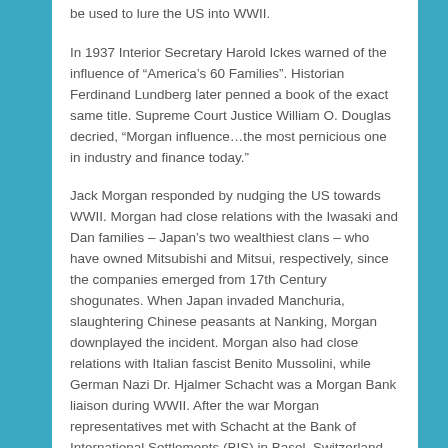be used to lure the US into WWII.
In 1937 Interior Secretary Harold Ickes warned of the influence of “America’s 60 Families”. Historian Ferdinand Lundberg later penned a book of the exact same title. Supreme Court Justice William O. Douglas decried, “Morgan influence…the most pernicious one in industry and finance today.”
Jack Morgan responded by nudging the US towards WWII. Morgan had close relations with the Iwasaki and Dan families – Japan’s two wealthiest clans – who have owned Mitsubishi and Mitsui, respectively, since the companies emerged from 17th Century shogunates. When Japan invaded Manchuria, slaughtering Chinese peasants at Nanking, Morgan downplayed the incident. Morgan also had close relations with Italian fascist Benito Mussolini, while German Nazi Dr. Hjalmer Schacht was a Morgan Bank liaison during WWII. After the war Morgan representatives met with Schacht at the Bank of International Settlements (BIS) in Basel, Switzerland. [13]